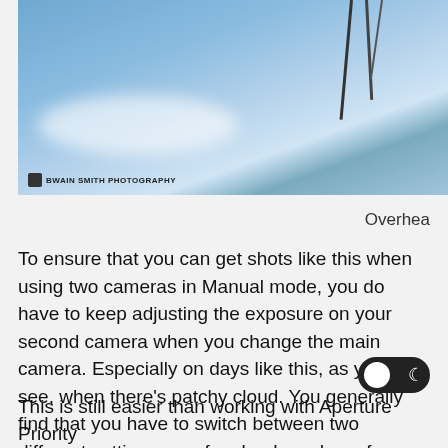[Figure (photo): Overhead photo showing ropes/wires against a blue sky with patchy clouds, with a watermark logo and text in the lower left corner.]
Overhea
To ensure that you can get shots like this when using two cameras in Manual mode, you do have to keep adjusting the exposure on your second camera when you change the main camera. Especially on days like this, as you can see, when there's patchy cloud. You generally find that you have to switch between two different settings, one for cloudy and one for clear.
This is still easier than working with Aperture Priority